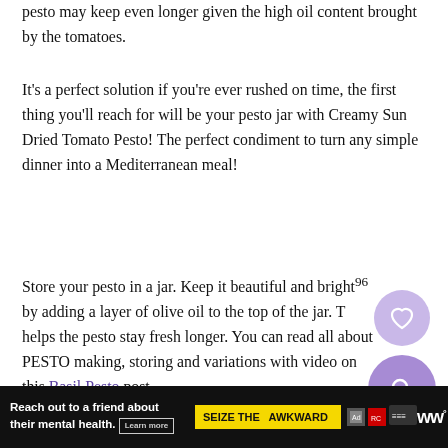pesto may keep even longer given the high oil content brought by the tomatoes.
It's a perfect solution if you're ever rushed on time, the first thing you'll reach for will be your pesto jar with Creamy Sun Dried Tomato Pesto! The perfect condiment to turn any simple dinner into a Mediterranean meal!
Store your pesto in a jar. Keep it beautiful and bright by adding a layer of olive oil to the top of the jar. This helps the pesto stay fresh longer. You can read all about PESTO making, storing and variations with video on this Basil Pesto post.
[Figure (other): UI overlay: circular heart/save button (light purple) and circular search button (darker purple) in the bottom-right area of the page.]
[Figure (other): Ad banner at bottom: black background, white text 'Reach out to a friend about their mental health. Learn more', yellow box with 'SEIZE THE AWKWARD', icons for Ad Council/media partners, and 'ww°' logo on right.]